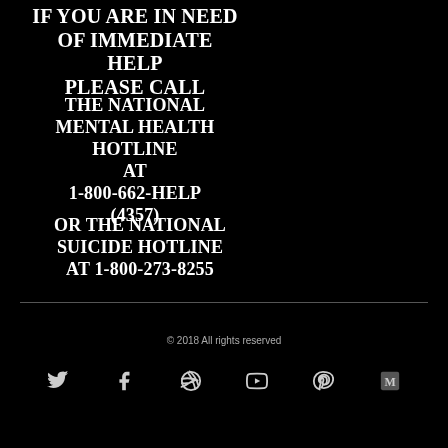IF YOU ARE IN NEED OF IMMEDIATE HELP PLEASE CALL
THE NATIONAL MENTAL HEALTH HOTLINE AT 1-800-662-HELP (4357)
OR THE NATIONAL SUICIDE HOTLINE AT 1-800-273-8255
© 2018 All rights reserved
[Figure (other): Row of 6 social media icons: Twitter, Facebook, Dribbble, YouTube, Pinterest, Medium]